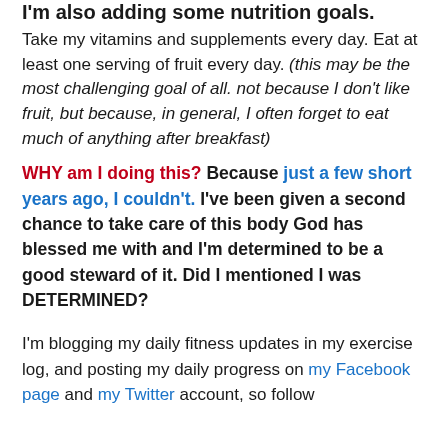I'm also adding some nutrition goals.
Take my vitamins and supplements every day. Eat at least one serving of fruit every day. (this may be the most challenging goal of all. not because I don't like fruit, but because, in general, I often forget to eat much of anything after breakfast)
WHY am I doing this? Because just a few short years ago, I couldn't. I've been given a second chance to take care of this body God has blessed me with and I'm determined to be a good steward of it. Did I mentioned I was DETERMINED?
I'm blogging my daily fitness updates in my exercise log, and posting my daily progress on my Facebook page and my Twitter account, so follow